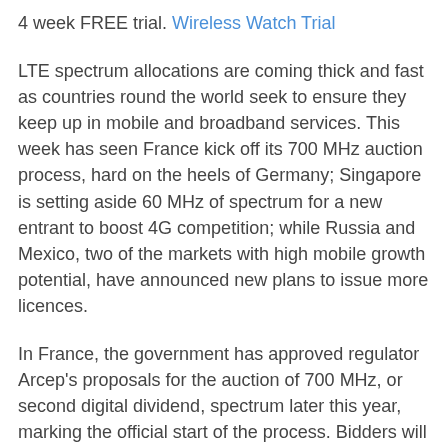4 week FREE trial. Wireless Watch Trial
LTE spectrum allocations are coming thick and fast as countries round the world seek to ensure they keep up in mobile and broadband services. This week has seen France kick off its 700 MHz auction process, hard on the heels of Germany; Singapore is setting aside 60 MHz of spectrum for a new entrant to boost 4G competition; while Russia and Mexico, two of the markets with high mobile growth potential, have announced new plans to issue more licences.
In France, the government has approved regulator Arcep's proposals for the auction of 700 MHz, or second digital dividend, spectrum later this year, marking the official start of the process. Bidders will need to submit their applications during the third quarter and the auction will take place in Q4, with a precise timeline to be announced.